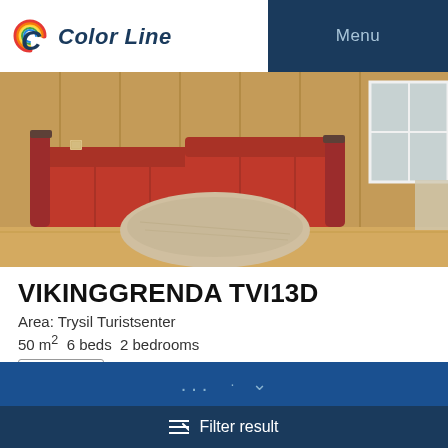Color Line | Menu
[Figure (photo): Interior photo of a cabin living room with red L-shaped sofa, wooden walls, oval wooden coffee table, and a door/window on the right]
VIKINGGRENDA TVI13D
Area: Trysil Turistsenter
50 m² 6 beds 2 bedrooms
Apartment Vikinggrenda is located at Turistsenteret. Apartment on ground floor, 6 beds, 50 m+, livi... Read more
Dishwasher   Sauna
... · \
Filter result